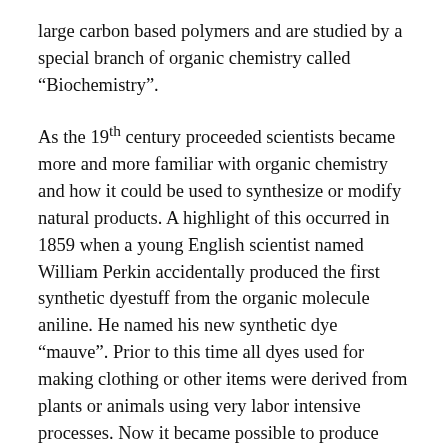large carbon based polymers and are studied by a special branch of organic chemistry called “Biochemistry”.
As the 19th century proceeded scientists became more and more familiar with organic chemistry and how it could be used to synthesize or modify natural products. A highlight of this occurred in 1859 when a young English scientist named William Perkin accidentally produced the first synthetic dyestuff from the organic molecule aniline. He named his new synthetic dye “mauve”. Prior to this time all dyes used for making clothing or other items were derived from plants or animals using very labor intensive processes. Now it became possible to produce these things synthetically. A new industry known as the “Chemical Industry” was created to deal with making such products. Indeed, the names of some of these companies today still reflect their